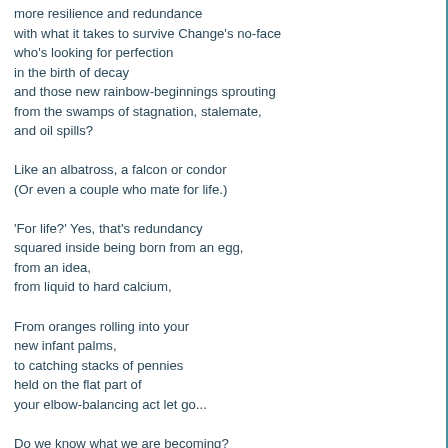more resilience and redundance
with what it takes to survive Change's no-face
who's looking for perfection
in the birth of decay
and those new rainbow-beginnings sprouting
from the swamps of stagnation, stalemate,
and oil spills?

Like an albatross, a falcon or condor
(Or even a couple who mate for life.)

'For life?' Yes, that's redundancy
squared inside being born from an egg,
from an idea,
from liquid to hard calcium,

From oranges rolling into your
new infant palms,
to catching stacks of pennies
held on the flat part of
your elbow-balancing act let go...

Do we know what we are becoming?
What is in front of all this
that we're walking into by the vehicle
of Death and Birth,
these two shoes
that ever remain untied since
they're mootly on two right feet
and can at any moment
be exchanged for one another's 'place'
in this tripping over ourselves-celebration
of some song we've never altogether heard